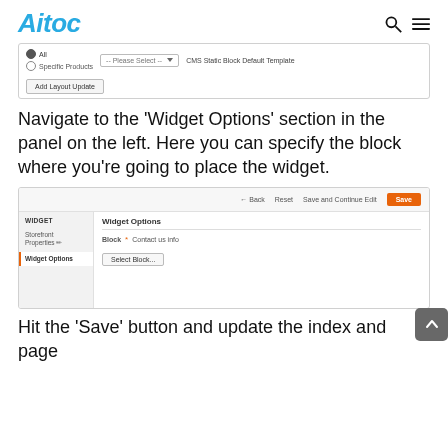Aitoc
[Figure (screenshot): Screenshot of a widget layout update form with radio buttons for All/Specific Products, a Please Select dropdown, CMS Static Block Default Template label, and an Add Layout Update button.]
Navigate to the ‘Widget Options’ section in the panel on the left. Here you can specify the block where you’re going to place the widget.
[Figure (screenshot): Screenshot of Magento admin widget editor showing Back, Reset, Save and Continue Edit, and Save buttons in a toolbar, a sidebar with WIDGET section containing Storefront Properties and Widget Options (active), and a main panel showing Widget Options with Block field set to Contact us info and a Select Block button.]
Hit the ‘Save’ button and update the index and page